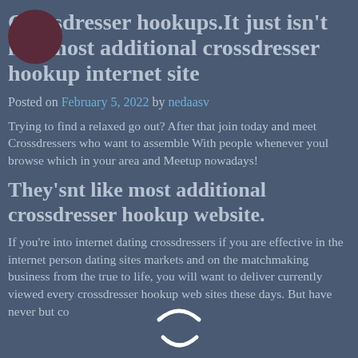Crossdresser hookups.It just isn't like most additional crossdresser hookup internet site
Posted on February 5, 2022 by nedaasv
Trying to find a relaxed go out? After that join today and meet Crossdressers who want to assemble With people whenever youl browse which in your area and Meetup nowadays!
They'snt like most additional crossdresser hookup website.
If you're into internet dating crossdressers if you are effective in the internet person dating sites markets and on the matchmaking business from the true to life, you will want to deliver currently viewed every crossdresser hookup web sites these days. But have never but come out…